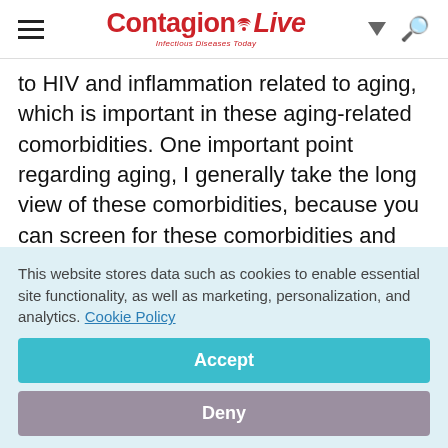ContagionLive – Infectious Diseases Today
to HIV and inflammation related to aging, which is important in these aging-related comorbidities. One important point regarding aging, I generally take the long view of these comorbidities, because you can screen for these comorbidities and you can find them, and you can treat them and prevent them, or treat them
This website stores data such as cookies to enable essential site functionality, as well as marketing, personalization, and analytics. Cookie Policy
Accept
Deny